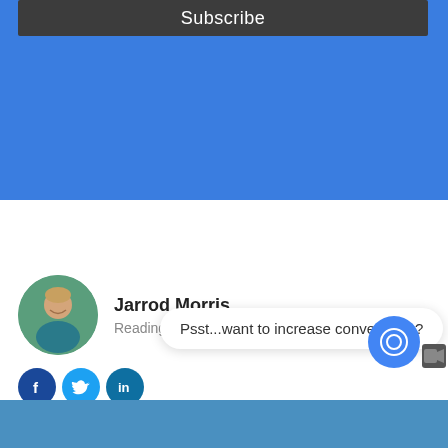Subscribe
[Figure (illustration): Blue background section below Subscribe button]
[Figure (photo): Circular avatar photo of Jarrod Morris, a man smiling outdoors with green background]
Jarrod Morris
Reading
[Figure (logo): Facebook, Twitter, LinkedIn social media icons in circular buttons]
Psst...want to increase conversions?
[Figure (illustration): Blue chat/message button with speech bubble icon, and video camera icon]
Privacy · Terms